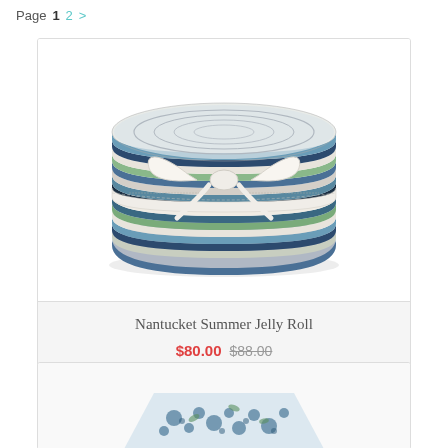Page 1 2 >
[Figure (photo): A jelly roll of fabric in blue, white, green, and black patterns, tied with a white ribbon bow.]
Nantucket Summer Jelly Roll
$80.00 $88.00
[Figure (photo): Partially visible fabric product with blue floral pattern.]